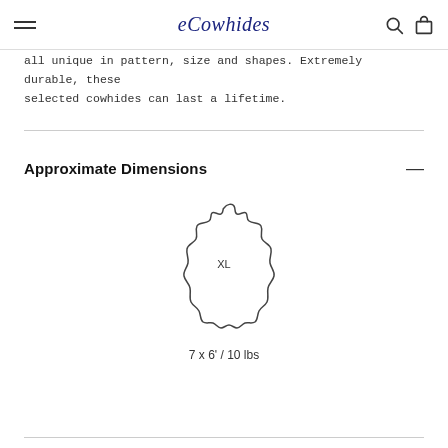eCowhides
all unique in pattern, size and shapes. Extremely durable, these selected cowhides can last a lifetime.
Approximate Dimensions
[Figure (illustration): Outline illustration of a cowhide rug shape with label XL inside]
7 x 6' / 10 lbs